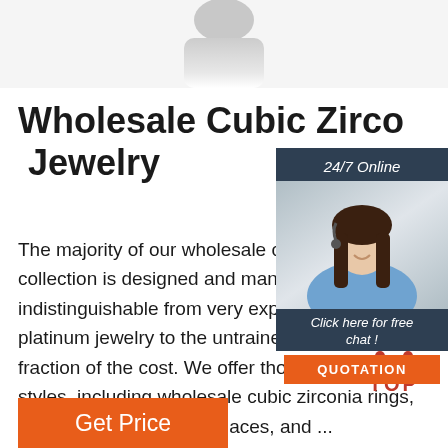[Figure (photo): Partial image of a person or fashion figure at the top of the page, cropped]
Wholesale Cubic Zirconia Jewelry
The majority of our wholesale cubic zirconia collection is designed and manufactured indistinguishable from very expensive diamond platinum jewelry to the untrained eye, at a fraction of the cost. We offer thousands of styles, including wholesale cubic zirconia rings, earrings, bracelets, necklaces, and ...
[Figure (infographic): 24/7 Online chat widget with agent photo, 'Click here for free chat!' text, and orange QUOTATION button]
[Figure (infographic): Red TOP button with dot-triangle above the text TOP]
Get Price